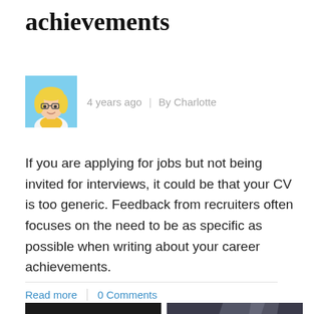achievements
4 years ago  |  By Charlotte
If you are applying for jobs but not being invited for interviews, it could be that your CV is too generic. Feedback from recruiters often focuses on the need to be as specific as possible when writing about your career achievements.
Read more   0 Comments
[Figure (photo): Black and white photo of two people, one playing guitar]
[Figure (photo): Color photo of a man with glasses under dramatic lighting, holding a guitar]